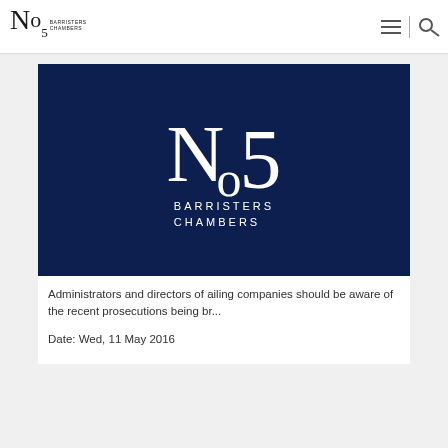No5 Barristers Chambers
[Figure (logo): No5 Barristers Chambers logo – large white serif text 'No5' with 'BARRISTERS CHAMBERS' below, on a dark navy background]
Administrators and directors of ailing companies should be aware of the recent prosecutions being br...
Date: Wed, 11 May 2016